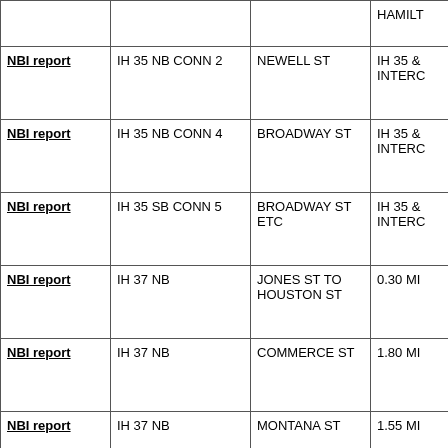|  |  |  |  |
| --- | --- | --- | --- |
|  |  |  | HAMILT... |
| NBI report | IH 35 NB CONN 2 | NEWELL ST | IH 35 & INTERC... |
| NBI report | IH 35 NB CONN 4 | BROADWAY ST | IH 35 & INTERC... |
| NBI report | IH 35 SB CONN 5 | BROADWAY ST ETC | IH 35 & INTERC... |
| NBI report | IH 37 NB | JONES ST TO HOUSTON ST | 0.30 MI... |
| NBI report | IH 37 NB | COMMERCE ST | 1.80 MI... |
| NBI report | IH 37 NB | MONTANA ST | 1.55 MI... |